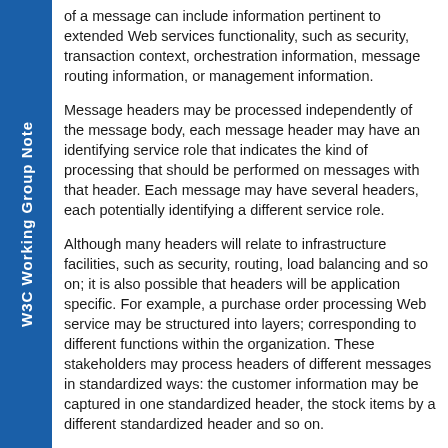W3C Working Group Note
of a message can include information pertinent to extended Web services functionality, such as security, transaction context, orchestration information, message routing information, or management information.
Message headers may be processed independently of the message body, each message header may have an identifying service role that indicates the kind of processing that should be performed on messages with that header. Each message may have several headers, each potentially identifying a different service role.
Although many headers will relate to infrastructure facilities, such as security, routing, load balancing and so on; it is also possible that headers will be application specific. For example, a purchase order processing Web service may be structured into layers; corresponding to different functions within the organization. These stakeholders may process headers of different messages in standardized ways: the customer information may be captured in one standardized header, the stock items by a different standardized header and so on.